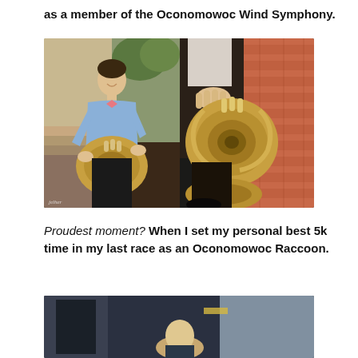as a member of the Oconomowoc Wind Symphony.
[Figure (photo): Two side-by-side photos of a young man holding a French horn. Left photo: smiling teen in blue shirt and pink bow tie sitting outdoors on brick steps. Right photo: close-up of hands holding a French horn against a brick wall backdrop.]
Proudest moment? When I set my personal best 5k time in my last race as an Oconomowoc Raccoon.
[Figure (photo): Partial photo at bottom of page showing a person in a dark setting, partially cropped.]